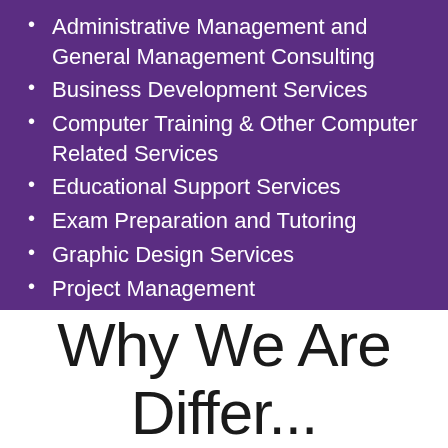Administrative Management and General Management Consulting
Business Development Services
Computer Training & Other Computer Related Services
Educational Support Services
Exam Preparation and Tutoring
Graphic Design Services
Project Management
Writing & Publishing Support Services
Other Business Support Services
Why We Are Different